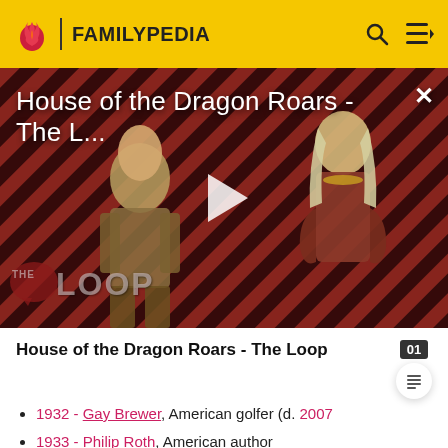FAMILYPEDIA
[Figure (screenshot): Video thumbnail for 'House of the Dragon Roars - The L...' showing two characters in medieval fantasy costumes against a red and black diagonal stripe background. A white play button triangle is centered. 'THE LOOP' watermark appears at the bottom left. A close (×) button is at the top right.]
House of the Dragon Roars - The Loop
1932 - Gay Brewer, American golfer (d. 2007
1933 - Philip Roth, American author
1933 - Renée Taylor, American actress